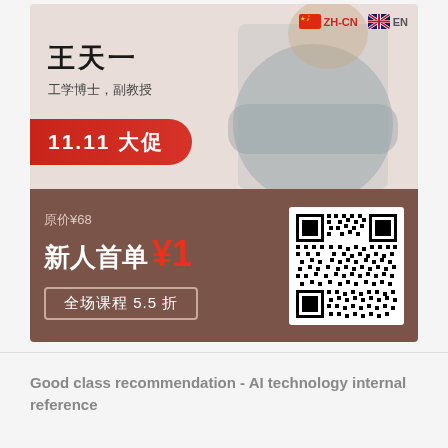[Figure (infographic): Chinese online course promotional ad card. Top section: light beige/pink background with Chinese instructor (Wang Tianyi, Engineering PhD, Associate Professor) standing with arms crossed, language toggle buttons (ZH-CN and EN with flags) in top right, red rounded badge '11.11大促'. Bottom section: brown background with pricing info '原价¥68', '新人首单¥1', '全场课程5.5折', and a QR code.]
Good class recommendation - AI technology internal reference